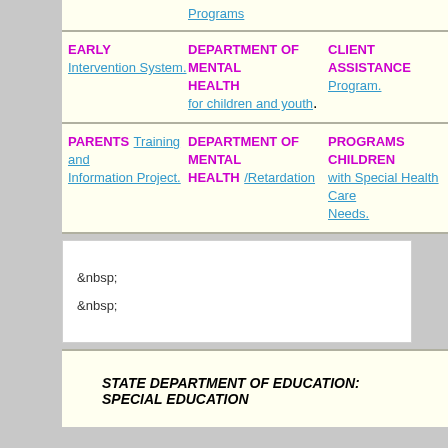| Program Type | Department | Service |
| --- | --- | --- |
|  |  | Programs |
| EARLY Intervention System. | DEPARTMENT OF MENTAL HEALTH for children and youth. | CLIENT ASSISTANCE Program. |
| PARENTS Training and Information Project. | DEPARTMENT OF MENTAL HEALTH /Retardation | PROGRAMS CHILDREN with Special Health Care Needs. |
&nbsp;
&nbsp;
STATE DEPARTMENT OF EDUCATION: SPECIAL EDUCATION